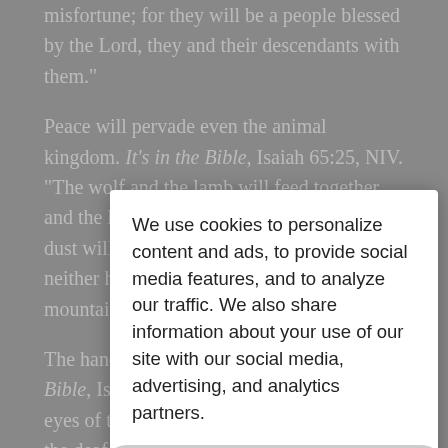misfortune; for they will be a people blessed by the Lord, they and their descendants with them."
Peace will pervade even the animal kingdom. It's in the Bible, Isaiah 65:25, NIV. "The wolf and the lamb will feed together, and the lion will eat straw like the ox, but dust will be the serpent's food. They will neither harm nor destroy in all My holy mountain."
The handicapped will be healed. It's in the Bible, Isaiah 35:5-6, NIV. "Then will the eyes of the blind be opened and the ears of the deaf unstopped. Then will the lame leap like a deer, and the tongue of the dumb shout for joy."
God will live with His people and there will be an end to death, crying, and pain. It's in the Bible, Revelation 21:3-4, NIV. "And I heard a loud voice from the throne saying, 'Now the dwelling of God is with men, and He will live with them. They will be His people, and God Himself will be with them and be
We use cookies to personalize content and ads, to provide social media features, and to analyze our traffic. We also share information about your use of our site with our social media, advertising, and analytics partners.
Cookie Settings
Accept All Cookies